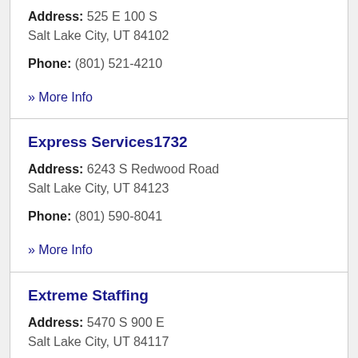Address: 525 E 100 S
Salt Lake City, UT 84102
Phone: (801) 521-4210
» More Info
Express Services1732
Address: 6243 S Redwood Road
Salt Lake City, UT 84123
Phone: (801) 590-8041
» More Info
Extreme Staffing
Address: 5470 S 900 E
Salt Lake City, UT 84117